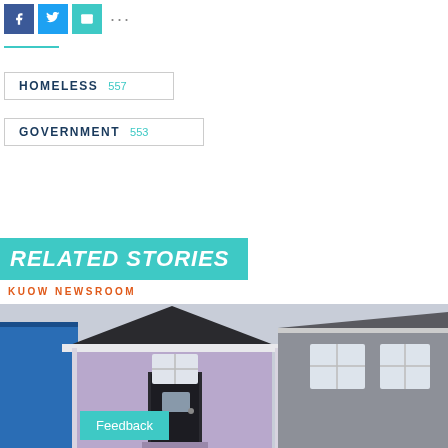[Figure (other): Social media share icons: Facebook (blue), Twitter (light blue), Email (teal), and more options (ellipsis)]
HOMELESS 557
GOVERNMENT 553
RELATED STORIES
KUOW NEWSROOM
[Figure (photo): Photograph of tiny houses; a purple/lavender tiny house in the center with a triangular roof and white trim, flanked by a blue structure on the left and a grey house on the right. Overcast sky background.]
Feedback